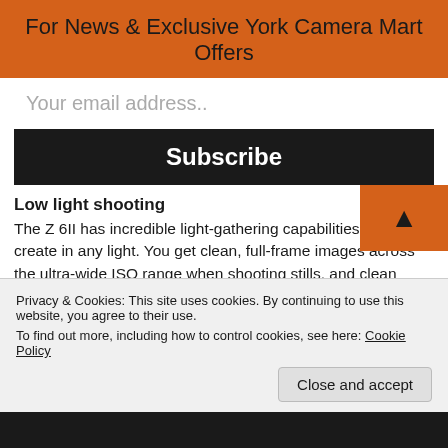For News & Exclusive York Camera Mart Offers
Your email address..
Subscribe
Low light shooting
The Z 6II has incredible light-gathering capabilities can to create in any light. You get clean, full-frame images across the ultra-wide ISO range when shooting stills, and clean output when shooting video. Low-light AF now works down to -6 EV with an f/2 (or faster) lens—you'll find focus even under the quarter-moon light.
Nikon Z Mount
The ultra-wide Z mount, coupled with an ever-expanding
Privacy & Cookies: This site uses cookies. By continuing to use this website, you agree to their use.
To find out more, including how to control cookies, see here: Cookie Policy
Close and accept